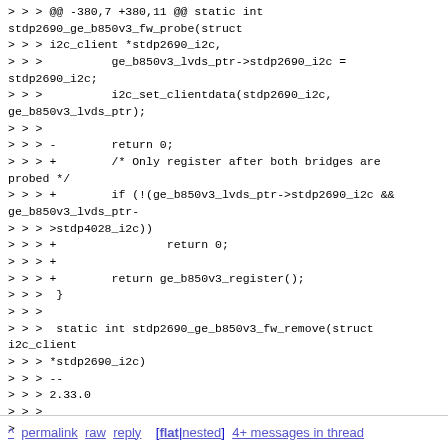> > > @@ -380,7 +380,11 @@ static int stdp2690_ge_b850v3_fw_probe(struct
> > > i2c_client *stdp2690_i2c,
> > >          ge_b850v3_lvds_ptr->stdp2690_i2c = stdp2690_i2c;
> > >          i2c_set_clientdata(stdp2690_i2c, ge_b850v3_lvds_ptr);
> > >
> > > -        return 0;
> > > +        /* Only register after both bridges are probed */
> > > +        if (!(ge_b850v3_lvds_ptr->stdp2690_i2c && ge_b850v3_lvds_ptr-
> > > >stdp4028_i2c))
> > > +                return 0;
> > > +
> > > +        return ge_b850v3_register();
> > >  }
> > >
> > >  static int stdp2690_ge_b850v3_fw_remove(struct i2c_client
> > > *stdp2690_i2c)
> > > --
> > > 2.33.0
> > >
>
^ permalink raw reply   [flat|nested] 4+ messages in thread